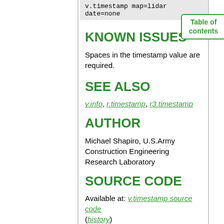v.timestamp map=lidar date=none
KNOWN ISSUES
Spaces in the timestamp value are required.
SEE ALSO
v.info, r.timestamp, r3.timestamp
AUTHOR
Michael Shapiro, U.S.Army Construction Engineering Research Laboratory
SOURCE CODE
Available at: v.timestamp source code (history)
Latest change: Thursday Feb 03 11:10:06 2022 in commit: